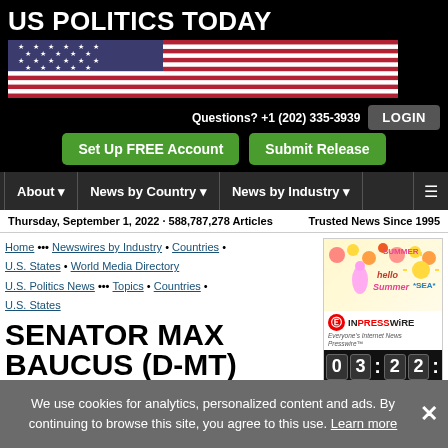US POLITICS TODAY
[Figure (illustration): American flag banner image]
Questions? +1 (202) 335-3939
LOGIN
Set Up FREE Account
Submit Release
About | News by Country | News by Industry
Thursday, September 1, 2022 · 588,787,278 Articles
Trusted News Since 1995
Home ••• Newswires by Industry • Countries • U.S. States • World Media Directory U.S. Politics News ••• Topics • Countries • U.S. States
SENATOR MAX BAUCUS (D-MT) NEWS
[Figure (advertisement): EIN Presswire summer advertisement with countdown timer showing 03 22]
We use cookies for analytics, personalized content and ads. By continuing to browse this site, you agree to this use. Learn more